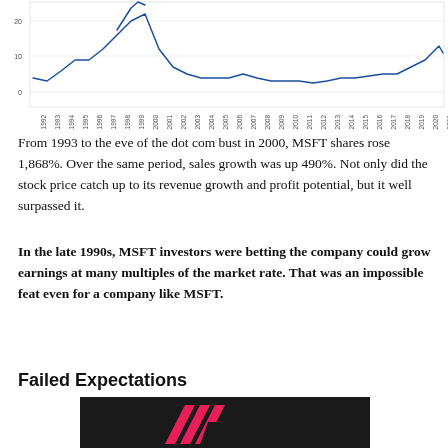[Figure (continuous-plot): Line chart showing MSFT price-to-sales ratio from 1992 to 2022. The line peaks around 1999-2000 at very high levels (~30+), then drops sharply, stays low through 2010s, and gradually rises again toward 2022.]
From 1993 to the eve of the dot com bust in 2000, MSFT shares rose 1,868%. Over the same period, sales growth was up 490%. Not only did the stock price catch up to its revenue growth and profit potential, but it well surpassed it.
In the late 1990s, MSFT investors were betting the company could grow earnings at many multiples of the market rate. That was an impossible feat even for a company like MSFT.
Failed Expectations
[Figure (logo): Dark background logo image with pink/magenta double-chevron or stylized M mark on dark gray/black background]